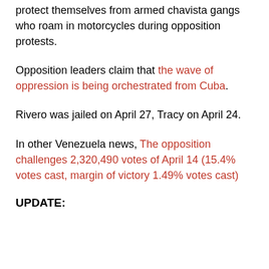protect themselves from armed chavista gangs who roam in motorcycles during opposition protests.
Opposition leaders claim that the wave of oppression is being orchestrated from Cuba.
Rivero was jailed on April 27, Tracy on April 24.
In other Venezuela news, The opposition challenges 2,320,490 votes of April 14 (15.4% votes cast, margin of victory 1.49% votes cast)
UPDATE: